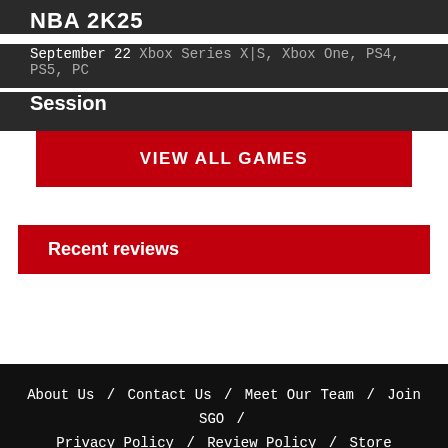NBA 2K25
September 22 Xbox Series X|S, Xbox One, PS4, PS5, PC
Session
VIEW ALL GAMES
Recent reviews
About Us / Contact Us / Meet Our Team / Join SGO / Privacy Policy / Review Policy / Store
Contact us:
© 2024 SGO · Privacy · About